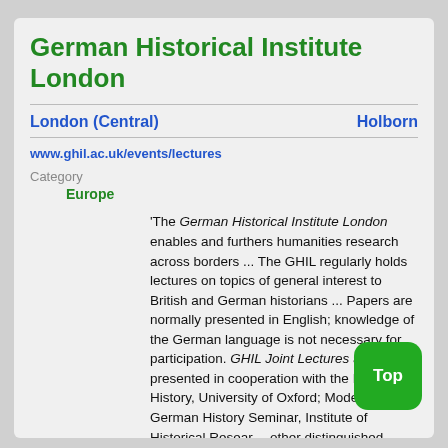German Historical Institute London
London (Central)    Holborn
www.ghil.ac.uk/events/lectures
Category
Europe
'The German Historical Institute London enables and furthers humanities research across borders ... The GHIL regularly holds lectures on topics of general interest to British and German historians ... Papers are normally presented in English; knowledge of the German language is not necessary for participation. GHIL Joint Lectures are presented in cooperation with the Faculty of History, University of Oxford; Modern German History Seminar, Institute of Historical Research; other distinguished institutions. The Leo Baeck Institute Lecture Series is organised by the LBI in cooperation with the GHIL.'